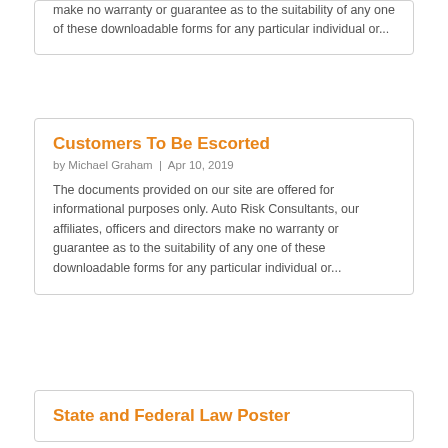make no warranty or guarantee as to the suitability of any one of these downloadable forms for any particular individual or...
Customers To Be Escorted
by Michael Graham | Apr 10, 2019
The documents provided on our site are offered for informational purposes only. Auto Risk Consultants, our affiliates, officers and directors make no warranty or guarantee as to the suitability of any one of these downloadable forms for any particular individual or...
State and Federal Law Poster